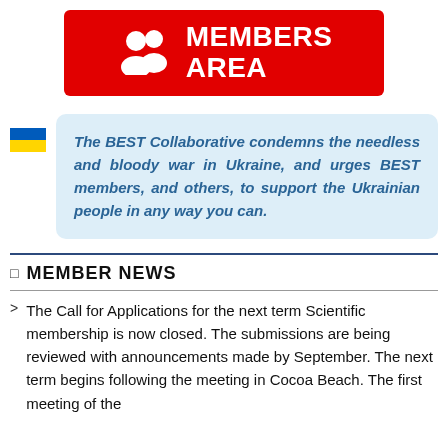[Figure (logo): Red banner with white people icon and text 'MEMBERS AREA']
The BEST Collaborative condemns the needless and bloody war in Ukraine, and urges BEST members, and others, to support the Ukrainian people in any way you can.
MEMBER NEWS
The Call for Applications for the next term Scientific membership is now closed. The submissions are being reviewed with announcements made by September. The next term begins following the meeting in Cocoa Beach. The first meeting of the